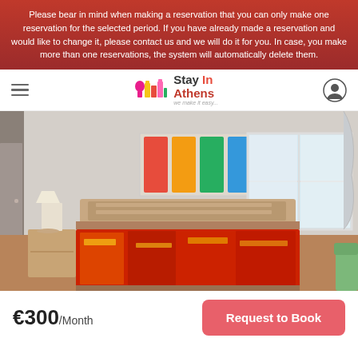Please bear in mind when making a reservation that you can only make one reservation for the selected period. If you have already made a reservation and would like to change it, please contact us and we will do it for you. In case, you make more than one reservations, the system will automatically delete them.
[Figure (logo): Stay In Athens logo with colorful building icons and tagline 'we make it easy...']
[Figure (photo): Bedroom photo showing a double bed with colorful patterned bedspread, wooden headboard, bedside table with lamp, colorful artwork on wall, and window with curtains]
€300/Month
Request to Book